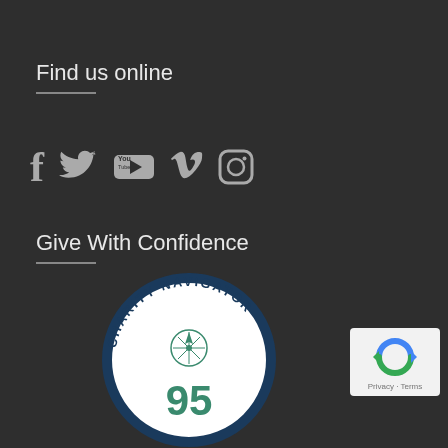Find us online
[Figure (illustration): Social media icons: Facebook, Twitter, YouTube, Vimeo, Instagram]
Give With Confidence
[Figure (logo): Charity Navigator badge showing score of 95 out of 100]
[Figure (logo): reCAPTCHA badge with Privacy and Terms links]